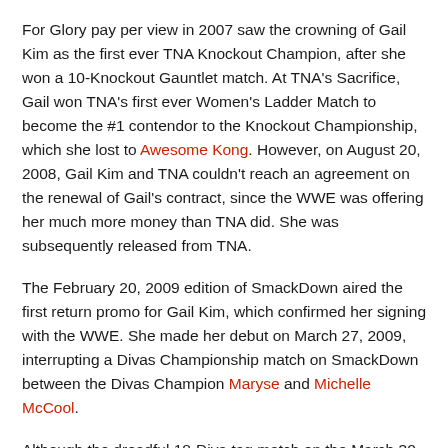For Glory pay per view in 2007 saw the crowning of Gail Kim as the first ever TNA Knockout Champion, after she won a 10-Knockout Gauntlet match. At TNA's Sacrifice, Gail won TNA's first ever Women's Ladder Match to become the #1 contendor to the Knockout Championship, which she lost to Awesome Kong. However, on August 20, 2008, Gail Kim and TNA couldn't reach an agreement on the renewal of Gail's contract, since the WWE was offering her much more money than TNA did. She was subsequently released from TNA.
The February 20, 2009 edition of SmackDown aired the first return promo for Gail Kim, which confirmed her signing with the WWE. She made her debut on March 27, 2009, interrupting a Divas Championship match on SmackDown between the Divas Champion Maryse and Michelle McCool.
Although the dreadful 18-Diva tag match on the March 30 edition of Raw was Gail's official return to the ring, she didn't even participate, so I'm considering the Divas Battle Royal to be her real debut. Gail's much anticipated arrival to